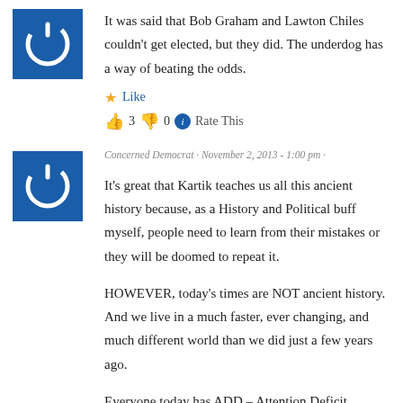It was said that Bob Graham and Lawton Chiles couldn't get elected, but they did. The underdog has a way of beating the odds.
Like
👍 3 👎 0 Rate This
Concerned Democrat · November 2, 2013 - 1:00 pm ·
It's great that Kartik teaches us all this ancient history because, as a History and Political buff myself, people need to learn from their mistakes or they will be doomed to repeat it.
HOWEVER, today's times are NOT ancient history. And we live in a much faster, ever changing, and much different world than we did just a few years ago.
Everyone today has ADD – Attention Deficit Disorder –